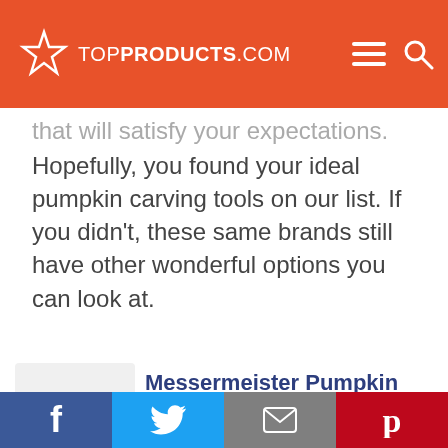TOPPRODUCTS.COM
that will satisfy your expectations. Hopefully, you found your ideal pumpkin carving tools on our list. If you didn't, these same brands still have other wonderful options you can look at.
[Figure (photo): Messermeister Pumpkin Meister Kit 2 product photo showing orange-handled carving tools]
Messermeister Pumpkin Meister Kit 2
Check Price
Facebook | Twitter | Email | Pinterest social share bar